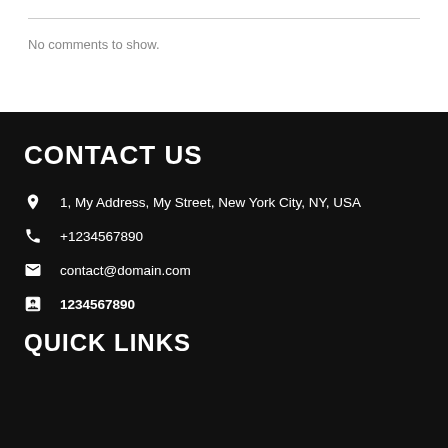No comments to show.
CONTACT US
1, My Address, My Street, New York City, NY, USA
+1234567890
contact@domain.com
1234567890
QUICK LINKS